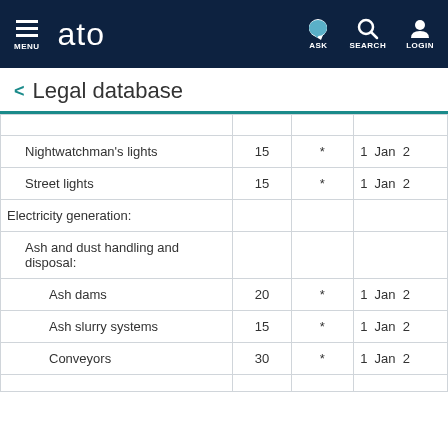MENU  ato  ASK  SEARCH  LOGIN
Legal database
| Description | Years |  | Date |
| --- | --- | --- | --- |
| Nightwatchman's lights | 15 | * | 1 Jan 2 |
| Street lights | 15 | * | 1 Jan 2 |
| Electricity generation: |  |  |  |
| Ash and dust handling and disposal: |  |  |  |
| Ash dams | 20 | * | 1 Jan 2 |
| Ash slurry systems | 15 | * | 1 Jan 2 |
| Conveyors | 30 | * | 1 Jan 2 |